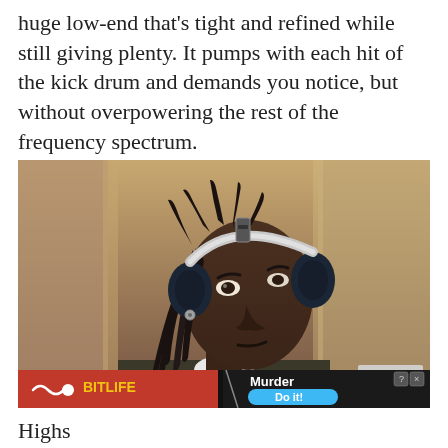huge low-end that's tight and refined while still giving plenty. It pumps with each hit of the kick drum and demands you notice, but without overpowering the rest of the frequency spectrum.
[Figure (photo): Young man with long dreadlocks wearing dark navy over-ear headphones and a dark jacket over a white t-shirt, looking slightly to the side. An advertisement overlay for BitLife is visible at the bottom with 'Murder' and 'Do it!' text, and a 'Close X' button at bottom right of the photo area.]
Highs